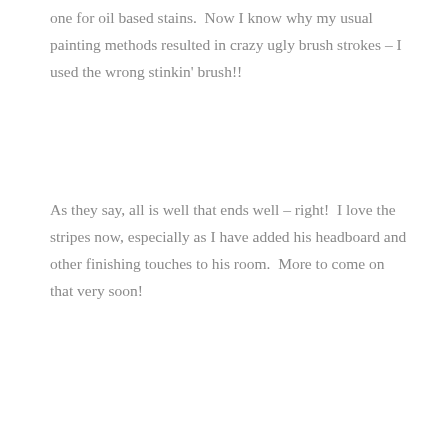one for oil based stains.  Now I know why my usual painting methods resulted in crazy ugly brush strokes – I used the wrong stinkin' brush!!
As they say, all is well that ends well – right!  I love the stripes now, especially as I have added his headboard and other finishing touches to his room.  More to come on that very soon!